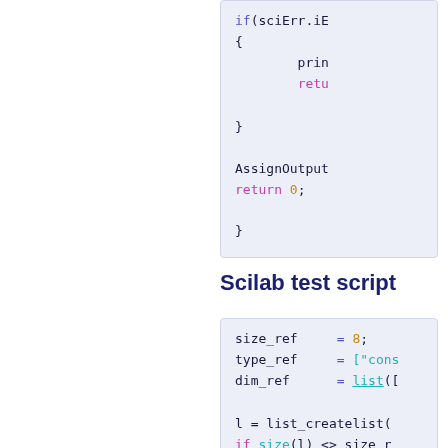[Figure (screenshot): Code block showing end of a C/C++ function with if(sciErr.iE, print, return, AssignOutput, return 0, closing brace]
Scilab test script
[Figure (screenshot): Scilab code block showing size_ref = 8; type_ref = ["cons...; dim_ref = list([...; l = list_createlist(; if size(l) <> size_r; for i = 1 : size_ref; if typeof(l(i)); if size(l(i)) <>; end]